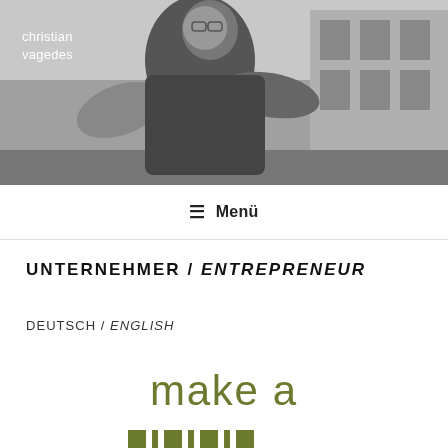[Figure (photo): Black and white photograph of a man gesturing with his hands outdoors, wearing a dark jacket and glasses, with buildings in the background.]
christian vagedes
≡  Menü
UNTERNEHMER / ENTREPRENEUR
DEUTSCH / ENGLISH
[Figure (logo): Partial logo text reading 'make a' in olive/dark yellow-green thin font, with vertical bar elements below forming the beginning of additional letters.]